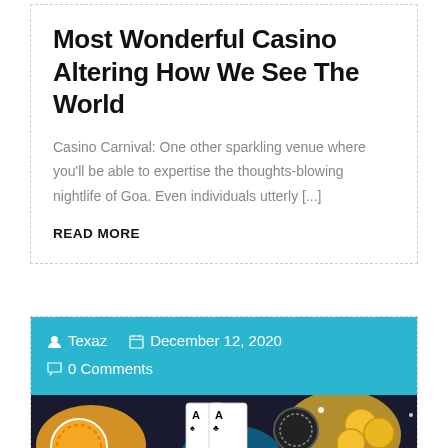Most Wonderful Casino Altering How We See The World
Casino Carnival: One other sparkling venue where you'll be able to expertise the thoughts-blowing nightlife of Goa. Even individuals utterly [...]
READ MORE
Texaz   December 12, 2020   0 Comments
[Figure (photo): Casino scene with playing cards showing Ace of Spades and Ace of Clubs, black poker chips, and gold coins on a blurred colorful background]